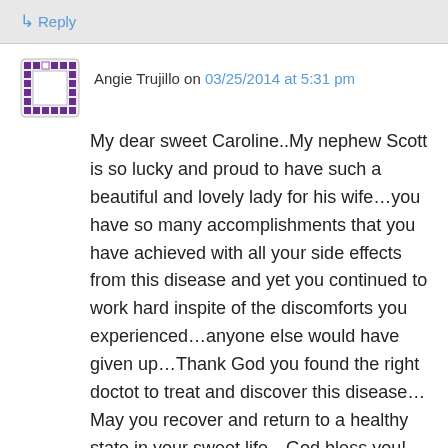↳ Reply
Angie Trujillo on 03/25/2014 at 5:31 pm
My dear sweet Caroline..My nephew Scott is so lucky and proud to have such a beautiful and lovely lady for his wife…you have so many accomplishments that you have achieved with all your side effects from this disease and yet you continued to work hard inspite of the discomforts you experienced…anyone else would have given up…Thank God you found the right doctot to treat and discover this disease…May you recover and return to a healthy state in your sweet life…God bless you! We love you so much…Aunt Angie and Uncle Herb….xxoo